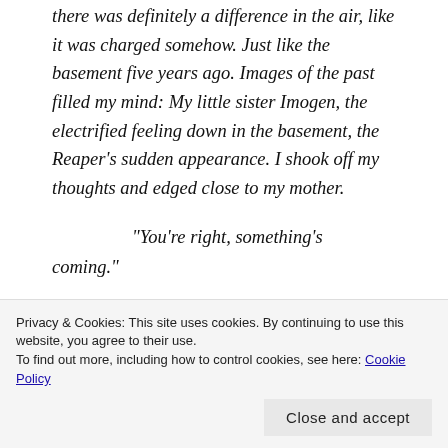there was definitely a difference in the air, like it was charged somehow. Just like the basement five years ago. Images of the past filled my mind: My little sister Imogen, the electrified feeling down in the basement, the Reaper's sudden appearance. I shook off my thoughts and edged close to my mother.
“You’re right, something’s coming.”
Privacy & Cookies: This site uses cookies. By continuing to use this website, you agree to their use. To find out more, including how to control cookies, see here: Cookie Policy